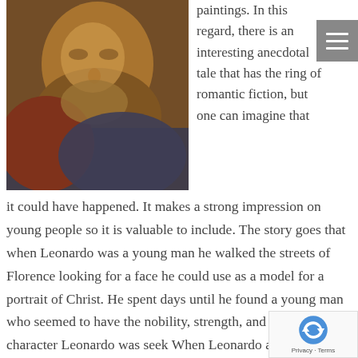[Figure (photo): A painting showing a bearded man's face and upper torso, appearing to be an old master painting with warm red and dark blue tones.]
paintings. In this regard, there is an interesting anecdotal tale that has the ring of romantic fiction, but one can imagine that
it could have happened. It makes a strong impression on young people so it is valuable to include. The story goes that when Leonardo was a young man he walked the streets of Florence looking for a face he could use as a model for a portrait of Christ. He spent days until he found a young man who seemed to have the nobility, strength, and depth of character Leonardo was seek When Leonardo asked him, the young man agreed to a model. Many years later, Leonardo was looking for a